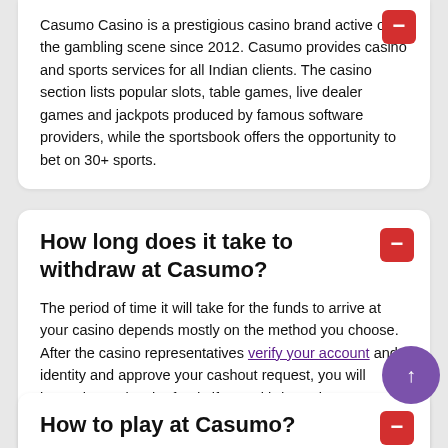Casumo Casino is a prestigious casino brand active on the gambling scene since 2012. Casumo provides casino and sports services for all Indian clients. The casino section lists popular slots, table games, live dealer games and jackpots produced by famous software providers, while the sportsbook offers the opportunity to bet on 30+ sports.
How long does it take to withdraw at Casumo?
The period of time it will take for the funds to arrive at your casino depends mostly on the method you choose. After the casino representatives verify your account and identity and approve your cashout request, you will instantly receive the funds if you withdraw via AstroPay, ecoPayz, Skrill, Neteller, or EcoBanq. However, if you withdraw via NetBanking, it might take up to 5 business days.
How to play at Casumo?